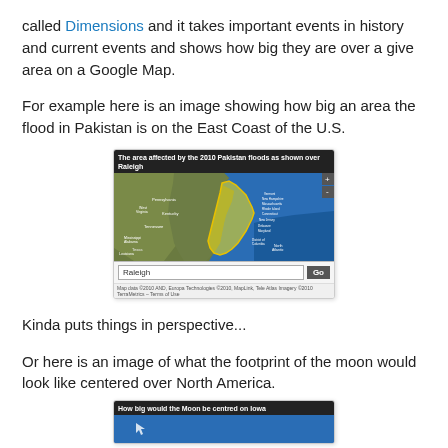called Dimensions and it takes important events in history and current events and shows how big they are over a give area on a Google Map.
For example here is an image showing how big an area the flood in Pakistan is on the East Coast of the U.S.
[Figure (map): Screenshot of a Google Maps overlay showing the area affected by the 2010 Pakistan floods overlaid on the East Coast of the U.S., centered on Raleigh. Yellow-outlined flood region spans from the Mid-Atlantic states southward. A search bar at the bottom shows 'Raleigh' with a 'Go' button.]
Kinda puts things in perspective...
Or here is an image of what the footprint of the moon would look like centered over North America.
[Figure (map): Screenshot titled 'How big would the Moon be centred on Iowa' showing a Google Maps overlay of the moon's footprint over North America.]